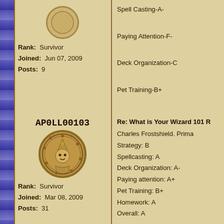Rank: Survivor
Joined: Jun 07, 2009
Posts: 9
Spell Casting-A-
Paying Attention-F-
Deck Organization-C
Pet Training-B+
Comments:He is a very go
AP0LL00103
[Figure (illustration): Round coin/medallion avatar showing a cartoon wizard character with a pointy hat]
Rank: Survivor
Joined: Mar 08, 2009
Posts: 31
Re: What is Your Wizard 101 R
Charles Frostshield. Prima
Strategy: B
Spellcasting: A
Deck Organization: A-
Paying attention: A+
Pet Training: B+
Homework: A
Overall: A